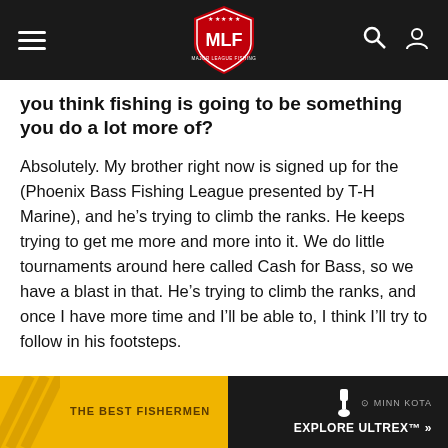MLF Major League Fishing navigation bar
you think fishing is going to be something you do a lot more of?
Absolutely. My brother right now is signed up for the (Phoenix Bass Fishing League presented by T-H Marine), and he’s trying to climb the ranks. He keeps trying to get me more and more into it. We do little tournaments around here called Cash for Bass, so we have a blast in that. He’s trying to climb the ranks, and once I have more time and I’ll be able to, I think I’ll try to follow in his footsteps.
What’s your favorite place you’ve fished?
St. Clair. Absolutely St. Clair. You can catch so many big smallmouth. You get on the right spot and it’s just one after
[Figure (other): Minn Kota Explore Ultrex advertisement banner at bottom of page]